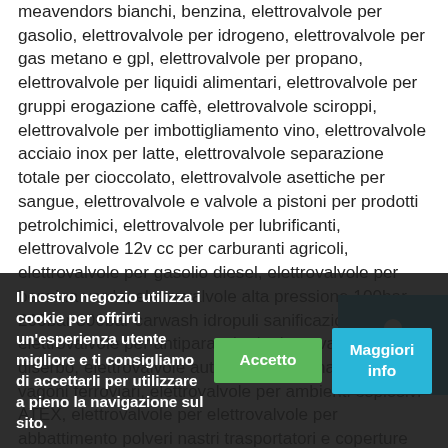meavendors bianchi, benzina, elettrovalvole per gasolio, elettrovalvole per idrogeno, elettrovalvole per gas metano e gpl, elettrovalvole per propano, elettrovalvole per liquidi alimentari, elettrovalvole per gruppi erogazione caffè, elettrovalvole sciroppi, elettrovalvole per imbottigliamento vino, elettrovalvole acciaio inox per latte, elettrovalvole separazione totale per cioccolato, elettrovalvole asettiche per sangue, elettrovalvole e valvole a pistoni per prodotti petrolchimici, elettrovalvole per lubrificanti, elettrovalvole 12v cc per carburanti agricoli, elettrovalvole per gasolio diesel, elettrovalvole per benzina verde, elettrovalvole alta pressione 100bar 200bar 300bar carwash idropuli sanificazione, elettrovalvole per antiparassitari, elettrovalvole per diserbo, elettrovalvole automotive e comando freni vagoni ferroviari, elettrovalvole per ambienti esplosivi ATEX, elettrovalvole per elettrovalvole per abbattimento polveri nastri trasportatori e coperture capannoni, elettrovalvole subacque acqua di mare, elettrovalvole per uso di olio – olio palma– olio minerale– elettrovalvole per iodina– Accetto– Maggiori info– elettrovalvole per detergenti cere shampoo glicole, elettrovalvole per acqua emulsionata di macchinari
[Figure (other): Registrati button overlay in teal/cyan color with a person/account icon above the text 'Registrati']
Il nostro negozio utilizza i cookie per offrirti un'esperienza utente migliore e ti consigliamo di accettarli per utilizzare a pieno la navigazione sul sito.